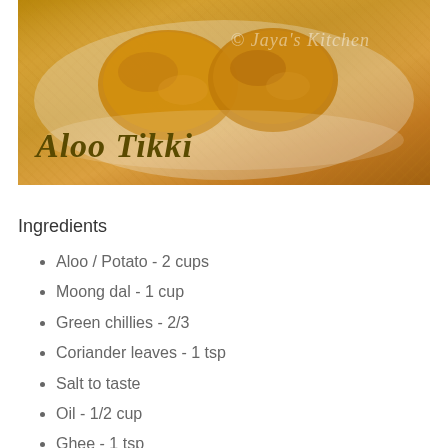[Figure (photo): Photo of Aloo Tikki (Indian potato patties) on a white plate with the text 'Aloo Tikki' overlaid in dark olive italic font, and a watermark in the background]
Ingredients
Aloo / Potato - 2 cups
Moong dal - 1 cup
Green chillies - 2/3
Coriander leaves - 1 tsp
Salt to taste
Oil - 1/2 cup
Ghee - 1 tsp
Yogurt / Curds - 1 cup